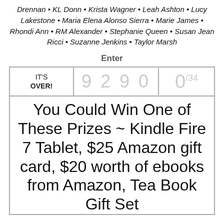Drennan • KL Donn • Krista Wagner • Leah Ashton • Lucy Lakestone • Maria Elena Alonso Sierra • Marie James • Rhondi Ann • RM Alexander • Stephanie Queen • Susan Jean Ricci • Suzanne Jenkins • Taylor Marsh
Enter
| IT'S OVER! | 9 2 9 0 | 0/34 |
You Could Win One of These Prizes ~ Kindle Fire 7 Tablet, $25 Amazon gift card, $20 worth of ebooks from Amazon, Tea Book Gift Set